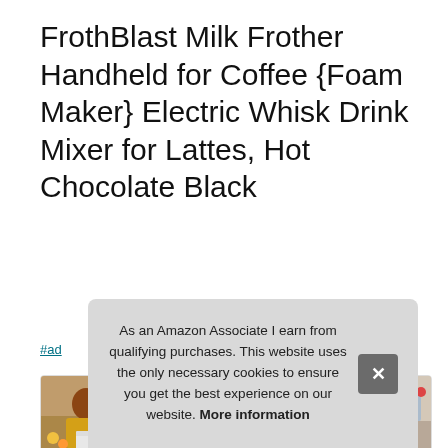FrothBlast Milk Frother Handheld for Coffee {Foam Maker} Electric Whisk Drink Mixer for Lattes, Hot Chocolate Black
#ad
[Figure (photo): Four product lifestyle photos showing people using a handheld milk frother in kitchen settings]
Froth... and... of y...
ENGINE AT 10, COMPACT, 000 rpmlll just the slightest touch
As an Amazon Associate I earn from qualifying purchases. This website uses the only necessary cookies to ensure you get the best experience on our website. More information